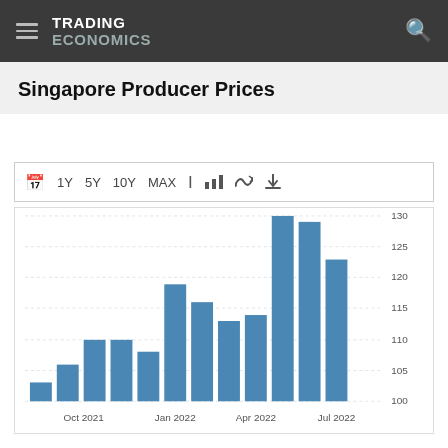TRADING ECONOMICS
Singapore Producer Prices
[Figure (bar-chart): Singapore Producer Prices]